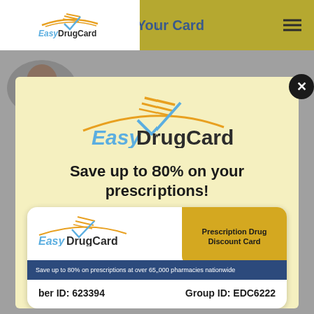Get Your Card
Dr. Elizabeth A. (Beth) Carter
[Figure (logo): EasyDrugCard logo with stylized swoosh and lines above the text]
Save up to 80% on your prescriptions!
[Figure (illustration): EasyDrugCard prescription drug discount card showing Group ID: EDC6222, Member ID: 623394, and text 'Save up to 80% on prescriptions at over 65,000 pharmacies nationwide']